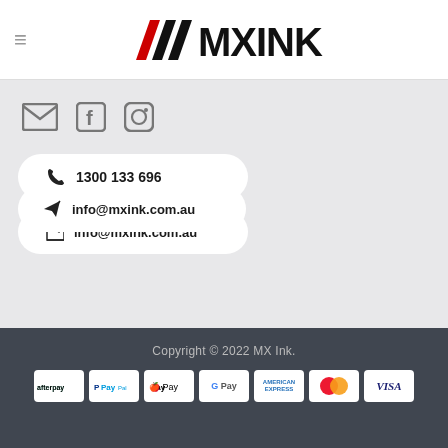MX INK logo with hamburger menu
[Figure (logo): MX INK logo with red and black diagonal stripe mark and bold MXINK wordmark]
[Figure (infographic): Social media icons: email envelope, Facebook f, Instagram camera]
✆ 1300 133 696
✉ info@mxink.com.au
Copyright © 2022 MX Ink.
[Figure (other): Payment method logos: Afterpay, PayPal, Apple Pay, Google Pay, American Express, Mastercard, Visa]